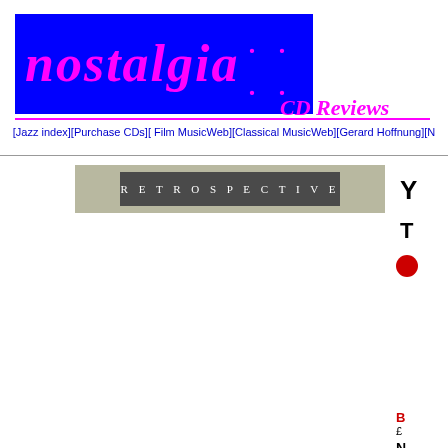Nostalgia .... CD Reviews
[Jazz index][Purchase CDs][ Film MusicWeb][Classical MusicWeb][Gerard Hoffnung][N...
[Figure (logo): Retrospective label logo: olive/khaki outer rectangle with dark grey inner rectangle containing the text RETROSPECTIVE in spaced white caps]
Y
T
[Figure (other): Red circle/button]
B
£
N